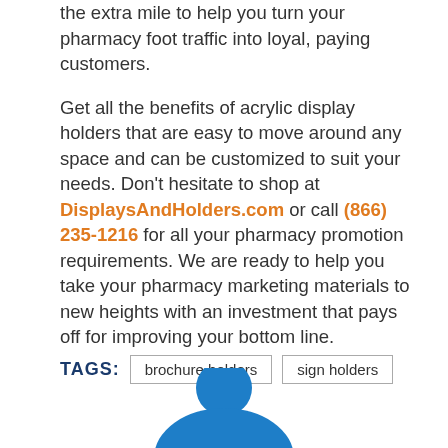the extra mile to help you turn your pharmacy foot traffic into loyal, paying customers.

Get all the benefits of acrylic display holders that are easy to move around any space and can be customized to suit your needs. Don't hesitate to shop at DisplaysAndHolders.com or call (866) 235-1216 for all your pharmacy promotion requirements. We are ready to help you take your pharmacy marketing materials to new heights with an investment that pays off for improving your bottom line.
TAGS: brochure holders   sign holders
[Figure (illustration): Partial blue avatar/person icon, cropped at the bottom of the page, showing a circular blue head and shoulders silhouette]